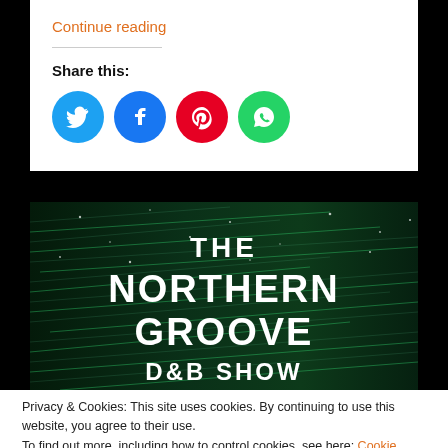Continue reading
Share this:
[Figure (infographic): Social sharing icons: Twitter (blue), Facebook (blue), Pinterest (red), WhatsApp (green)]
[Figure (photo): The Northern Groove D&B Show banner image — dark background with green light streaks and bold white text]
Privacy & Cookies: This site uses cookies. By continuing to use this website, you agree to their use.
To find out more, including how to control cookies, see here: Cookie Policy
Close and accept
Northern Groove D&B Shows